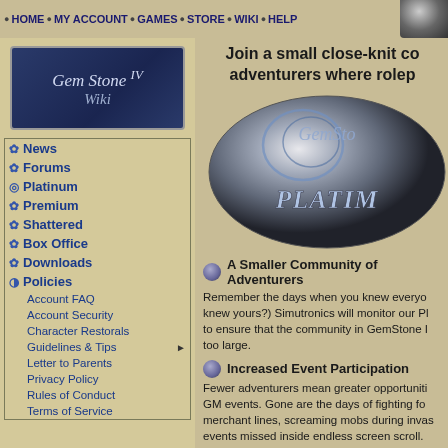HOME  MY ACCOUNT  GAMES  STORE  WIKI  HELP
[Figure (logo): GemStone IV Wiki logo with dark blue gradient background and italic serif text]
News
Forums
Platinum
Premium
Shattered
Box Office
Downloads
Policies
Account FAQ
Account Security
Character Restorals
Guidelines & Tips
Letter to Parents
Privacy Policy
Rules of Conduct
Terms of Service
Join a small close-knit community of adventurers where roleplaying thrives
[Figure (logo): GemStone Platinum logo — metallic sphere with decorative knotwork and PLATINUM text overlay]
A Smaller Community of Adventurers
Remember the days when you knew everyone and everyone knew yours?) Simutronics will monitor our Platinum subscription to ensure that the community in GemStone IV never grows too large.
Increased Event Participation
Fewer adventurers mean greater opportunities to participate in GM events. Gone are the days of fighting for position in merchant lines, screaming mobs during invasions, or having events missed inside endless screen scroll.
More Opportunities for Roleplay